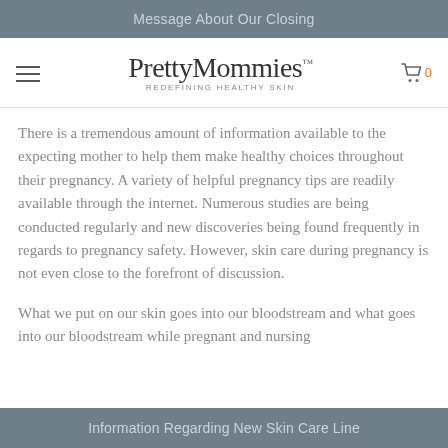Message About Our Closing
[Figure (logo): PrettyMommies logo with tagline REDEFINING HEALTHY SKIN and hamburger menu and cart icon]
There is a tremendous amount of information available to the expecting mother to help them make healthy choices throughout their pregnancy. A variety of helpful pregnancy tips are readily available through the internet. Numerous studies are being conducted regularly and new discoveries being found frequently in regards to pregnancy safety. However, skin care during pregnancy is not even close to the forefront of discussion.
What we put on our skin goes into our bloodstream and what goes into our bloodstream while pregnant and nursing
Information Regarding New Skin Care Line